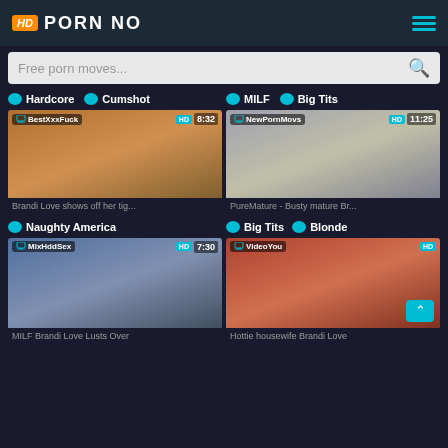HD PORN NO
Free porn moves...
Hardcore | Cumshot
[Figure (screenshot): Video thumbnail: BestXxxFuck, HD, 8:32]
Brandi Love shows off her tig...
MILF | Big Tits
[Figure (screenshot): Video thumbnail: NewPornMovs, HD, 11:25]
PureMature - Busty mature Br...
Naughty America
[Figure (screenshot): Video thumbnail: MixHddSex, HD, 7:30]
MILF Brandi Love Lusts Over
Big Tits | Blonde
[Figure (screenshot): Video thumbnail: VideoYou, HD]
Hottie housewife Brandi Love